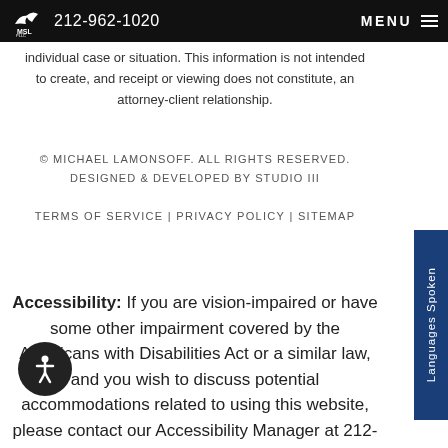212-962-1020  MENU
individual case or situation. This information is not intended to create, and receipt or viewing does not constitute, an attorney-client relationship.
© MICHAEL LAMONSOFF. ALL RIGHTS RESERVED. DESIGNED & DEVELOPED BY STUDIO III
TERMS OF SERVICE | PRIVACY POLICY | SITEMAP
Accessibility: If you are vision-impaired or have some other impairment covered by the Americans with Disabilities Act or a similar law, and you wish to discuss potential accommodations related to using this website, please contact our Accessibility Manager at 212-962-1020.